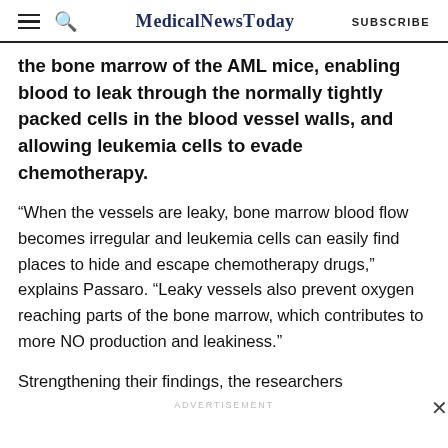MedicalNewsToday | SUBSCRIBE
the bone marrow of the AML mice, enabling blood to leak through the normally tightly packed cells in the blood vessel walls, and allowing leukemia cells to evade chemotherapy.
“When the vessels are leaky, bone marrow blood flow becomes irregular and leukemia cells can easily find places to hide and escape chemotherapy drugs,” explains Passaro. “Leaky vessels also prevent oxygen reaching parts of the bone marrow, which contributes to more NO production and leakiness.”
Strengthening their findings, the researchers
ADVERTISEMENT